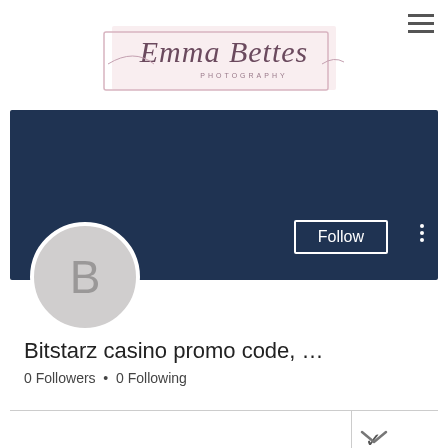[Figure (logo): Emma Bettes Photography logo with cursive script text inside a light pink rectangular border]
[Figure (screenshot): Social media profile page showing a dark navy header banner, a circular avatar with letter B, a Follow button, and profile name 'Bitstarz casino promo code, ...' with '0 Followers • 0 Following', plus a bottom navigation bar with Email, Facebook, Wedding..., and Instagram icons]
Bitstarz casino promo code, …
0 Followers • 0 Following